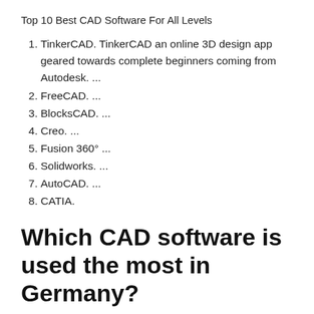Top 10 Best CAD Software For All Levels
TinkerCAD. TinkerCAD an online 3D design app geared towards complete beginners coming from Autodesk. ...
FreeCAD. ...
BlocksCAD. ...
Creo. ...
Fusion 360° ...
Solidworks. ...
AutoCAD. ...
CATIA.
Which CAD software is used the most in Germany?
With the best-ever performance, seamless